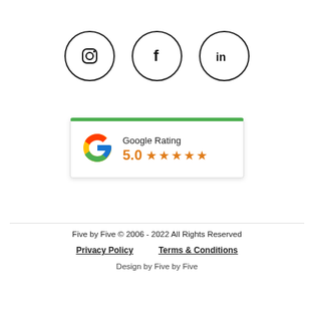[Figure (illustration): Three social media icon circles: Instagram, Facebook, LinkedIn]
[Figure (infographic): Google Rating badge showing 5.0 stars with five orange stars and Google G logo, topped with a green bar]
Five by Five © 2006 - 2022 All Rights Reserved
Privacy Policy    Terms & Conditions
Design by Five by Five